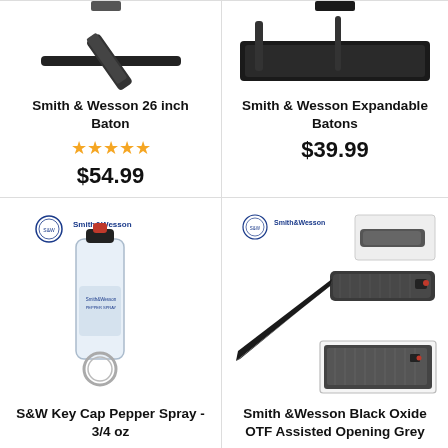[Figure (photo): Smith & Wesson 26 inch Baton product image - top cropped]
Smith & Wesson 26 inch Baton
★★★★★
$54.99
[Figure (photo): Smith & Wesson Expandable Batons product image - top cropped]
Smith & Wesson Expandable Batons
$39.99
[Figure (photo): S&W Key Cap Pepper Spray 3/4 oz product image with Smith & Wesson logo]
S&W Key Cap Pepper Spray - 3/4 oz
★★★★☆
$12.99
[Figure (photo): Smith & Wesson Black Oxide OTF Assisted Opening Grey knife product image with Smith & Wesson logo]
Smith &Wesson Black Oxide OTF Assisted Opening Grey
★★★★★
$51.99